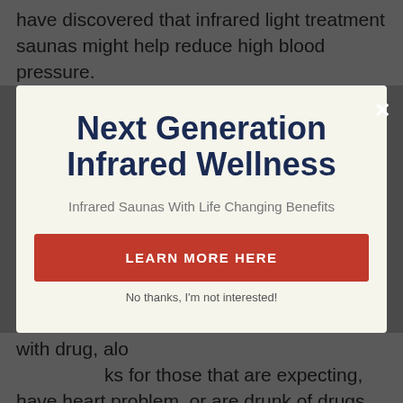According to one evaluation, a number of studies have discovered that infrared light treatment saunas might help reduce high blood pressure.
Next Generation Infrared Wellness
Infrared Saunas With Life Changing Benefits
LEARN MORE HERE
No thanks, I'm not interested!
with drug, along with ... risks for those that are expecting, have heart problem, or are drunk of drugs or alcohol, to name a few